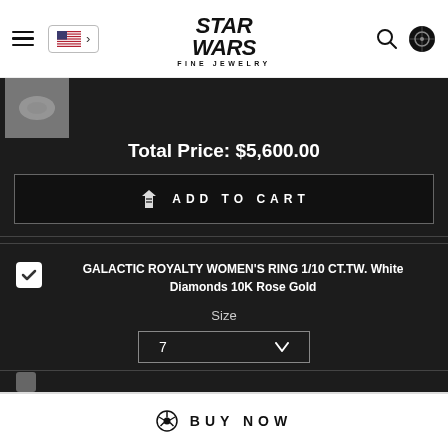Star Wars Fine Jewelry - navigation header with hamburger menu, US flag selector, logo, search and cart icons
Total Price: $5,600.00
ADD TO CART
GALACTIC ROYALTY WOMEN'S RING 1/10 CT.TW. White Diamonds 10K Rose Gold
Size
7
$650.00
BUY NOW